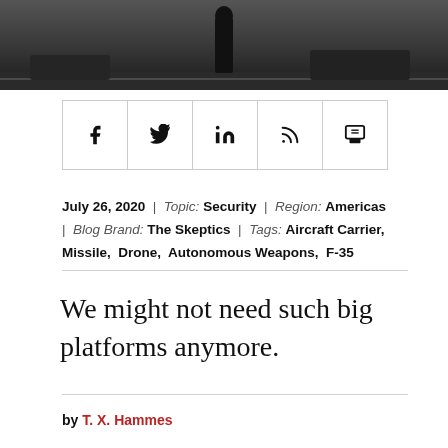[Figure (photo): Dark photo strip at top showing a figure standing on what appears to be a tarmac or road, with vehicles in background]
[Figure (infographic): Social sharing bar with 5 icons: Facebook (f), Twitter (bird/y), LinkedIn (in), RSS feed, and Print/printer]
July 26, 2020 | Topic: Security | Region: Americas | Blog Brand: The Skeptics | Tags: Aircraft Carrier, Missile, Drone, Autonomous Weapons, F-35
We might not need such big platforms anymore.
by T. X. Hammes